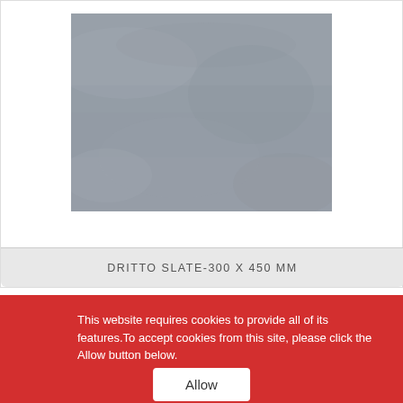[Figure (photo): A grey slate tile texture — smooth matte surface in medium grey tone, slightly mottled.]
DRITTO SLATE-300 X 450 MM
This website requires cookies to provide all of its features. To accept cookies from this site, please click the Allow button below.